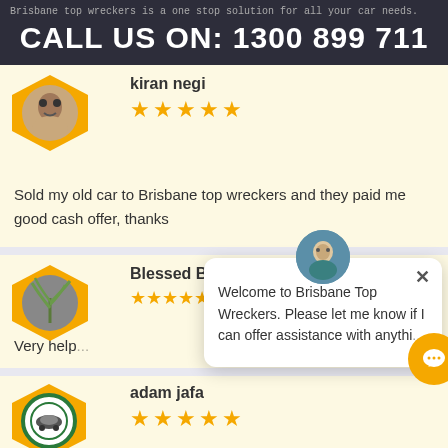Brisbane top wreckers is a one stop solution for all your car needs.
CALL US ON: 1300 899 711
[Figure (other): Review card for kiran negi with 5 gold stars and a diamond-shaped avatar photo]
Sold my old car to Brisbane top wreckers and they paid me good cash offer, thanks
[Figure (other): Review card for Blessed Botanic with hexagon-shaped avatar of plant]
Very help...
[Figure (other): Chat popup with avatar: Welcome to Brisbane Top Wreckers. Please let me know if I can offer assistance with anythi...]
[Figure (other): Partial review card for adam jafa with 5 gold stars and circular auto-cycle logo avatar]